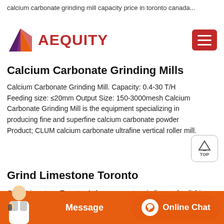calcium carbonate grinding mill capacity price in toronto canada...
[Figure (logo): Aequity company logo with red/orange/purple geometric shape and red AEQUITY text, plus hamburger menu icon]
Calcium Carbonate Grinding Mills
Calcium Carbonate Grinding Mill. Capacity: 0.4-30 T/H Feeding size: ≤20mm Output Size: 150-3000mesh Calcium Carbonate Grinding Mill is the equipment specializing in producing fine and superfine calcium carbonate powder Product; CLUM calcium carbonate ultrafine vertical roller mill.
Grind Limestone Toronto
Grind Limestone Toronto. Arthurs concrete grinding and polishing limited is an active establishment which was registered under canada business corporations act with a corporation number 83...